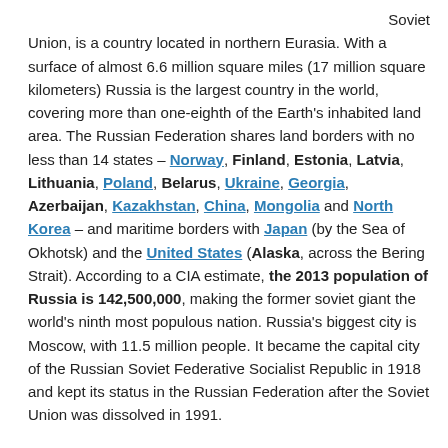Soviet Union, is a country located in northern Eurasia. With a surface of almost 6.6 million square miles (17 million square kilometers) Russia is the largest country in the world, covering more than one-eighth of the Earth's inhabited land area. The Russian Federation shares land borders with no less than 14 states – Norway, Finland, Estonia, Latvia, Lithuania, Poland, Belarus, Ukraine, Georgia, Azerbaijan, Kazakhstan, China, Mongolia and North Korea – and maritime borders with Japan (by the Sea of Okhotsk) and the United States (Alaska, across the Bering Strait). According to a CIA estimate, the 2013 population of Russia is 142,500,000, making the former soviet giant the world's ninth most populous nation. Russia's biggest city is Moscow, with 11.5 million people. It became the capital city of the Russian Soviet Federative Socialist Republic in 1918 and kept its status in the Russian Federation after the Soviet Union was dissolved in 1991.